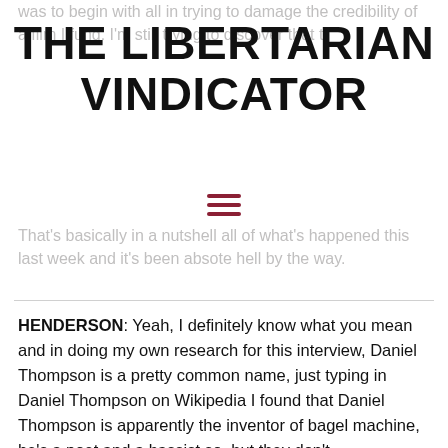was to begin with all in trying to damage the credibility of a film I fu... I'm still trying to discover that t...
THE LIBERTARIAN VINDICATOR
That's basically in a nutshell all of what's happened this last week and it's been absolute hell by the way.
HENDERSON: Yeah, I definitely know what you mean and in doing my own research for this interview, Daniel Thompson is a pretty common name, just typing in Daniel Thompson on Wikipedia I found that Daniel Thompson is apparently the inventor of bagel machine, he's a poet and a bassist so, but they don't…
THOMPSON: There's also another Daniel Thompson who is an actor who was in Airplane Repo reality show. Just in case anybody wanted to know.